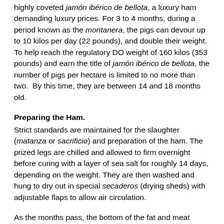highly coveted jamón ibérico de bellota, a luxury ham demanding luxury prices. For 3 to 4 months, during a period known as the montanera, the pigs can devour up to 10 kilos per day (22 pounds), and double their weight. To help reach the regulatory DO weight of 160 kilos (353 pounds) and earn the title of jamón ibérico de bellota, the number of pigs per hectare is limited to no more than two.  By this time, they are between 14 and 18 months old.
Preparing the Ham.
Strict standards are maintained for the slaughter (matanza or sacrificio) and preparation of the ham. The prized legs are chilled and allowed to firm overnight before curing with a layer of sea salt for roughly 14 days, depending on the weight. They are then washed and hung to dry out in special secaderos (drying sheds) with adjustable flaps to allow air circulation.
As the months pass, the bottom of the fat and meat starts to...